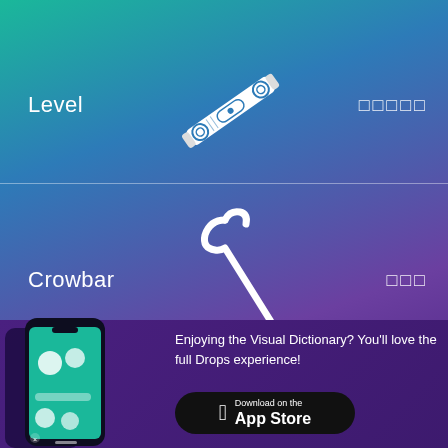Level
□□□□□
[Figure (illustration): White icon of a level tool (spirit level) shown diagonally]
Crowbar
□□□
[Figure (illustration): White icon of a crowbar shown diagonally]
[Figure (screenshot): Smartphone showing the Drops language learning app with mushroom vocabulary illustrations]
Enjoying the Visual Dictionary? You'll love the full Drops experience!
[Figure (logo): Download on the App Store button]